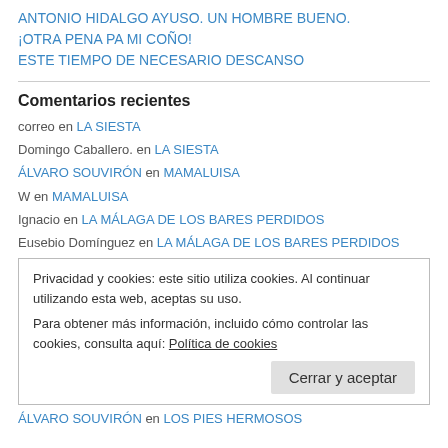ANTONIO HIDALGO AYUSO. UN HOMBRE BUENO.
¡OTRA PENA PA MI COÑO!
ESTE TIEMPO DE NECESARIO DESCANSO
Comentarios recientes
correo en LA SIESTA
Domingo Caballero. en LA SIESTA
ÁLVARO SOUVIRÓN en MAMALUISA
W en MAMALUISA
Ignacio en LA MÁLAGA DE LOS BARES PERDIDOS
Eusebio Domínguez en LA MÁLAGA DE LOS BARES PERDIDOS
Privacidad y cookies: este sitio utiliza cookies. Al continuar utilizando esta web, aceptas su uso.
Para obtener más información, incluido cómo controlar las cookies, consulta aquí: Política de cookies
Cerrar y aceptar
ÁLVARO SOUVIRÓN en LOS PIES HERMOSOS